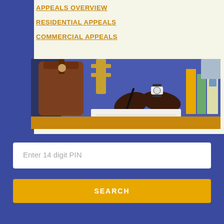APPEALS OVERVIEW
RESIDENTIAL APPEALS
COMMERCIAL APPEALS
[Figure (photo): Person writing in a notebook at a desk with a leather bag, wearing a watch, with books visible in the background]
Enter 14 digit PIN
SEARCH